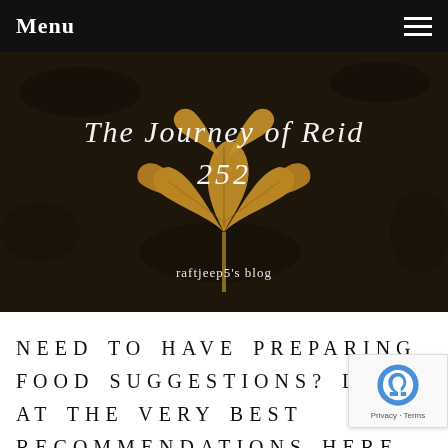Menu
[Figure (photo): Blog header hero image with a dried autumn leaf on dark soil/ground background, with script text overlay reading 'The Journey of Reid 252' and subtitle 'raftjeep5's blog']
NEED TO HAVE PREPARING FOOD SUGGESTIONS? LOOK AT THE VERY BEST RECOMMENDATIONS HERE
May 25, 2020